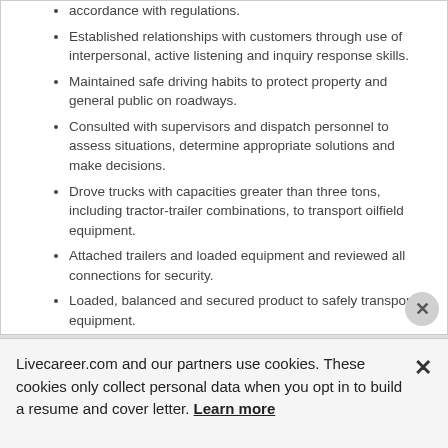accordance with regulations.
Established relationships with customers through use of interpersonal, active listening and inquiry response skills.
Maintained safe driving habits to protect property and general public on roadways.
Consulted with supervisors and dispatch personnel to assess situations, determine appropriate solutions and make decisions.
Drove trucks with capacities greater than three tons, including tractor-trailer combinations, to transport oilfield equipment.
Attached trailers and loaded equipment and reviewed all connections for security.
Loaded, balanced and secured product to safely transport equipment.
Inspected trucks and trailers before and after trips and completed basic maintenance for optimal performance.
Livecareer.com and our partners use cookies. These cookies only collect personal data when you opt in to build a resume and cover letter. Learn more